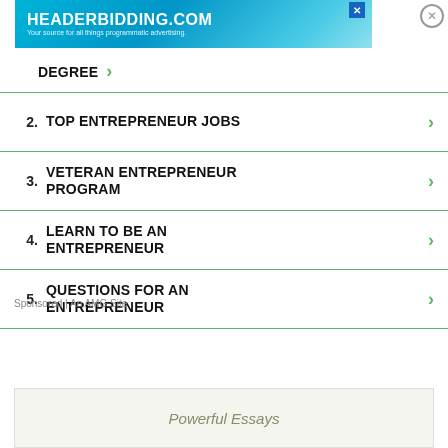[Figure (screenshot): HEADERBIDDING.COM advertisement banner — teal/blue gradient background with white text: 'HEADERBIDDING.COM' and subtitle 'Your source for all things programmatic advertising.']
DEGREE
2. TOP ENTREPRENEUR JOBS
3. VETERAN ENTREPRENEUR PROGRAM
4. LEARN TO BE AN ENTREPRENEUR
5. QUESTIONS FOR AN ENTREPRENEUR
Sponsored | An AMG Site
Powerful Essays